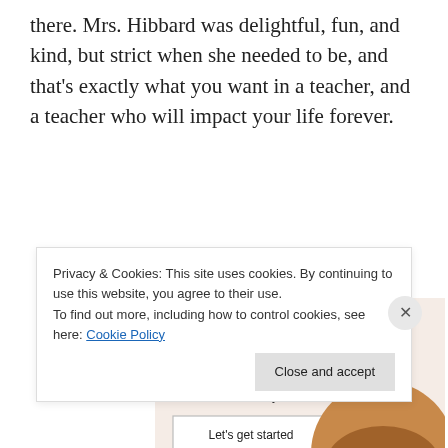there. Mrs. Hibbard was delightful, fun, and kind, but strict when she needed to be, and that’s exactly what you want in a teacher, and a teacher who will impact your life forever.
[Figure (infographic): Advertisement banner with beige/cream background. Headline: 'Need a website quickly – and on a budget?' Subtext: 'Let us build it for you'. Button: 'Let’s get started'. Circular image of person typing on laptop.]
Privacy & Cookies: This site uses cookies. By continuing to use this website, you agree to their use.
To find out more, including how to control cookies, see here: Cookie Policy
Close and accept